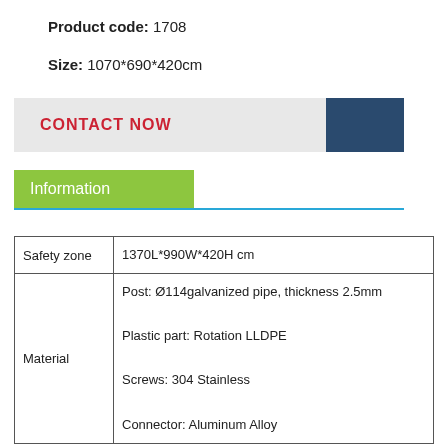Product code: 1708
Size: 1070*690*420cm
CONTACT NOW
Information
| Safety zone | 1370L*990W*420H cm |
| Material | Post: Ø114galvanized pipe, thickness 2.5mm

Plastic part: Rotation LLDPE

Screws: 304 Stainless

Connector: Aluminum Alloy |